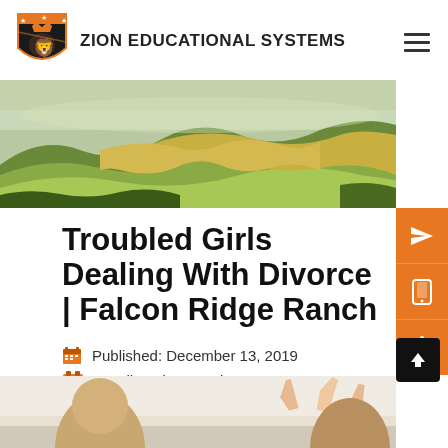[Figure (logo): Zion Educational Systems shield logo with lion and orange crown]
ZION EDUCATIONAL SYSTEMS
[Figure (photo): Aerial landscape photo of rolling golden hills and green valleys]
Troubled Girls Dealing With Divorce | Falcon Ridge Ranch
Published: December 13, 2019
Reading Time: 2 minutes
[Figure (photo): Children in classroom with hands raised, partially visible at bottom]